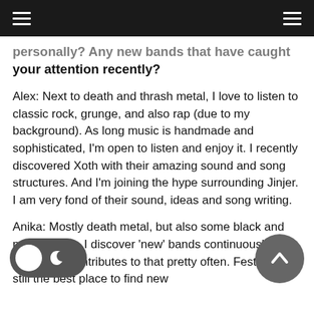Navigation header with hamburger menus
personally? Any new bands that have caught your attention recently?
Alex: Next to death and thrash metal, I love to listen to classic rock, grunge, and also rap (due to my background). As long music is handmade and sophisticated, I'm open to listen and enjoy it. I recently discovered Xoth with their amazing sound and song structures. And I'm joining the hype surrounding Jinjer. I am very fond of their sound, ideas and song writing.
Anika: Mostly death metal, but also some black and metal bands. I discover 'new' bands continuously; Instagram contributes to that pretty often. Festivals are still the best place to find new